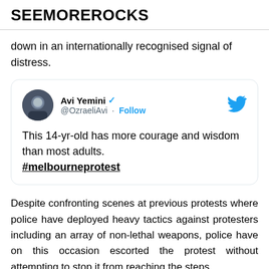SEEMOREROCKS
down in an internationally recognised signal of distress.
[Figure (screenshot): Embedded tweet from Avi Yemini (@OzraeliAvi) with verified badge and Follow button. Tweet text: This 14-yr-old has more courage and wisdom than most adults. #melbourneprotest]
Despite confronting scenes at previous protests where police have deployed heavy tactics against protesters including an array of non-lethal weapons, police have on this occasion escorted the protest without attempting to stop it from reaching the steps